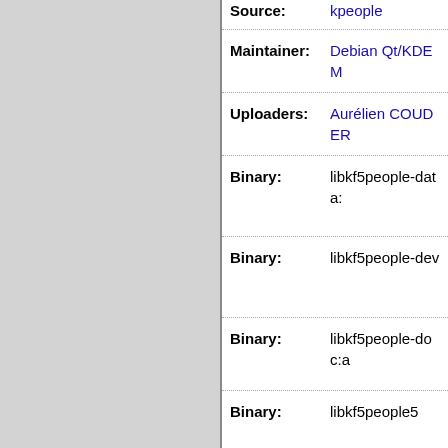| Field | Value |
| --- | --- |
| Source: | kpeople |
| Maintainer: | Debian Qt/KDE M |
| Uploaders: | Aurélien COUDER |
| Binary: | libkf5people-data: |
| Binary: | libkf5people-dev |
| Binary: | libkf5people-doc:a |
| Binary: | libkf5people5 |
| Binary: | libkf5peoplebacke |
| Binary: | libkf5peoplewidget |
| Binary: | qml-module-org-k |
| Source: | kpimtextedit |